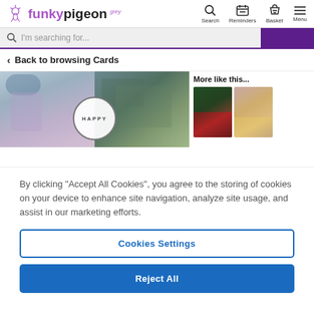[Figure (logo): Funky Pigeon logo with decorative bird/flower icon]
[Figure (infographic): Navigation icons: Search, Reminders, Basket, Menu]
I'm searching for...
< Back to browsing Cards
[Figure (photo): Product card image showing a family photo collage with HAPPY text badge]
More like this...
[Figure (photo): Two thumbnail images of greeting card products]
By clicking “Accept All Cookies”, you agree to the storing of cookies on your device to enhance site navigation, analyze site usage, and assist in our marketing efforts.
Cookies Settings
Reject All